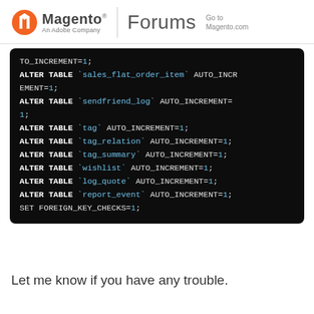Magento Forums - Go to Magento.com
[Figure (screenshot): Dark code block showing SQL ALTER TABLE statements resetting AUTO_INCREMENT values and SET FOREIGN_KEY_CHECKS]
Let me know if you have any trouble.